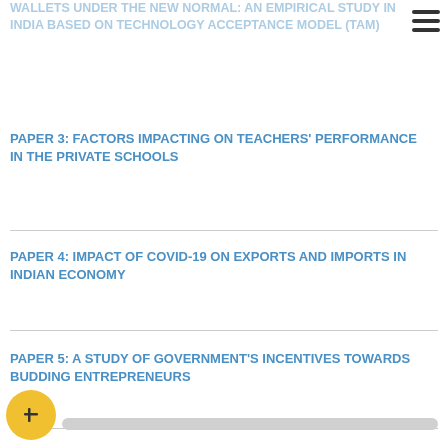WALLETS UNDER THE NEW NORMAL: AN EMPIRICAL STUDY IN INDIA BASED ON TECHNOLOGY ACCEPTANCE MODEL (TAM)
Paper 3: FACTORS IMPACTING ON TEACHERS' PERFORMANCE IN THE PRIVATE SCHOOLS
Paper 4: IMPACT OF COVID-19 ON EXPORTS AND IMPORTS IN INDIAN ECONOMY
Paper 5: A STUDY OF GOVERNMENT'S INCENTIVES TOWARDS BUDDING ENTREPRENEURS